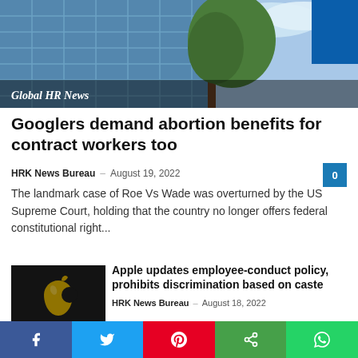[Figure (photo): Glass office building with trees and blue sky — Global HR News banner image]
Googlers demand abortion benefits for contract workers too
HRK News Bureau – August 19, 2022  0
The landmark case of Roe Vs Wade was overturned by the US Supreme Court, holding that the country no longer offers federal constitutional right...
[Figure (photo): Apple logo on a dark glass store exterior]
Apple updates employee-conduct policy, prohibits discrimination based on caste
HRK News Bureau – August 18, 2022
Will there be layoffs at Apple and
[Figure (other): Social share bar with Facebook, Twitter, Pinterest, Share, and WhatsApp buttons]